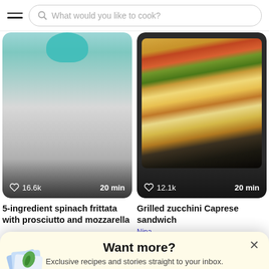[Figure (screenshot): Search bar with hamburger menu and placeholder text 'What would you like to cook?']
[Figure (photo): Recipe card showing spinach frittata with prosciutto and mozzarella — teal/grey gradient background. Heart icon with 16.6k likes, 20 min cook time.]
[Figure (photo): Recipe card showing grilled zucchini Caprese sandwich on dark slate background. Heart icon with 12.1k likes, 20 min cook time.]
5-ingredient spinach frittata with prosciutto and mozzarella
Grilled zucchini Caprese sandwich
Nina
[Figure (illustration): Floating recipe cards / envelope illustration with food icon]
Want more?
Exclusive recipes and stories straight to your inbox.
Enter your email
Submit